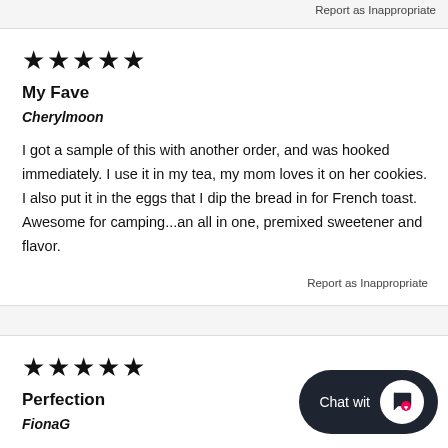Report as Inappropriate
[Figure (other): Five filled black stars rating]
My Fave
Cherylmoon
I got a sample of this with another order, and was hooked immediately. I use it in my tea, my mom loves it on her cookies. I also put it in the eggs that I dip the bread in for French toast. Awesome for camping...an all in one, premixed sweetener and flavor.
Report as Inappropriate
[Figure (other): Five filled black stars rating]
Perfection
FionaG